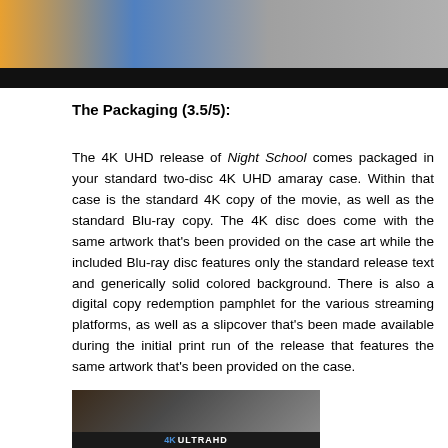[Figure (photo): Top portion of an image showing colorful scene with people, with a dark black bar at the bottom]
The Packaging (3.5/5):
The 4K UHD release of Night School comes packaged in your standard two-disc 4K UHD amaray case. Within that case is the standard 4K copy of the movie, as well as the standard Blu-ray copy. The 4K disc does come with the same artwork that’s been provided on the case art while the included Blu-ray disc features only the standard release text and generically solid colored background. There is also a digital copy redemption pamphlet for the various streaming platforms, as well as a slipcover that’s been made available during the initial print run of the release that features the same artwork that’s been provided on the case.
[Figure (photo): Bottom image showing a 4K UHD Blu-ray disc case with '4K ULTRAHD' branding visible at the bottom]